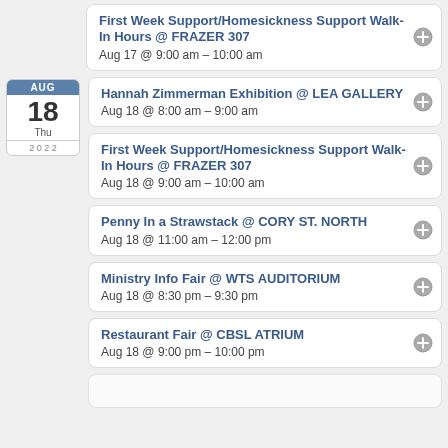First Week Support/Homesickness Support Walk-In Hours @ FRAZER 307
Aug 17 @ 9:00 am – 10:00 am
Hannah Zimmerman Exhibition @ LEA GALLERY
Aug 18 @ 8:00 am – 9:00 am
First Week Support/Homesickness Support Walk-In Hours @ FRAZER 307
Aug 18 @ 9:00 am – 10:00 am
Penny In a Strawstack @ CORY ST. NORTH
Aug 18 @ 11:00 am – 12:00 pm
Ministry Info Fair @ WTS AUDITORIUM
Aug 18 @ 8:30 pm – 9:30 pm
Restaurant Fair @ CBSL ATRIUM
Aug 18 @ 9:00 pm – 10:00 pm